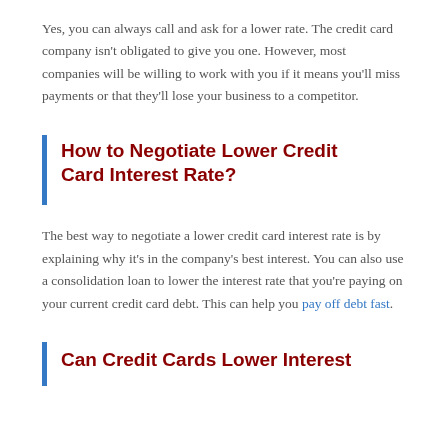Yes, you can always call and ask for a lower rate. The credit card company isn't obligated to give you one. However, most companies will be willing to work with you if it means you'll miss payments or that they'll lose your business to a competitor.
How to Negotiate Lower Credit Card Interest Rate?
The best way to negotiate a lower credit card interest rate is by explaining why it's in the company's best interest. You can also use a consolidation loan to lower the interest rate that you're paying on your current credit card debt. This can help you pay off debt fast.
Can Credit Cards Lower Interest...